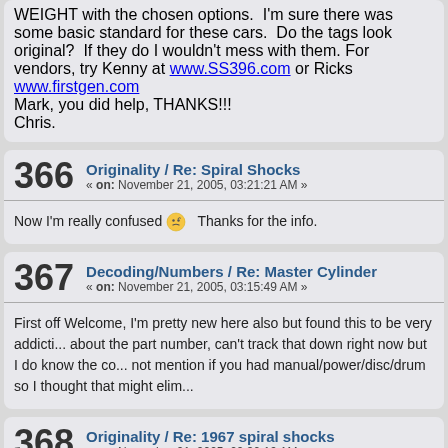WEIGHT with the chosen options.  I'm sure there was some basic standard for these cars.  Do the tags look original?  If they do I wouldn't mess with them. For vendors, try Kenny at www.SS396.com or Ricks www.firstgen.com
Mark, you did help, THANKS!!!
Chris.
366  Originality / Re: Spiral Shocks
« on: November 21, 2005, 03:21:21 AM »
Now I'm really confused 🤔  Thanks for the info.
367  Decoding/Numbers / Re: Master Cylinder
« on: November 21, 2005, 03:15:49 AM »
First off Welcome, I'm pretty new here also but found this to be very addicting. about the part number, can't track that down right now but I do know the co... not mention if you had manual/power/disc/drum so I thought that might elim...
368  Originality / Re: 1967 spiral shocks
« on: November 21, 2005, 02:30:19 AM »